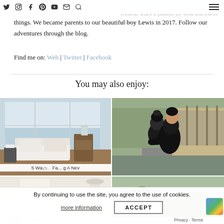Social nav icons: Twitter, Instagram, Facebook, Pinterest, YouTube, Email, Search, Hamburger menu
things. We became parents to our beautiful boy Lewis in 2017. Follow our adventures through the blog.
Find me on: Web | Twitter | Facebook
You may also enjoy:
[Figure (photo): Interior living room with white sofa, wooden dresser, lantern decor, and large window overlooking the sea]
[Figure (photo): Woman and young child in winter hats and dark coats outdoors on a path next to wooden fencing]
[Figure (photo): Partially visible interior shot, bottom row left]
[Figure (photo): Partially visible outdoor garden or landscape, bottom row right]
By continuing to use the site, you agree to the use of cookies.
more information
ACCEPT
5 Wa... Fa... g A Nev
Privacy · Terms